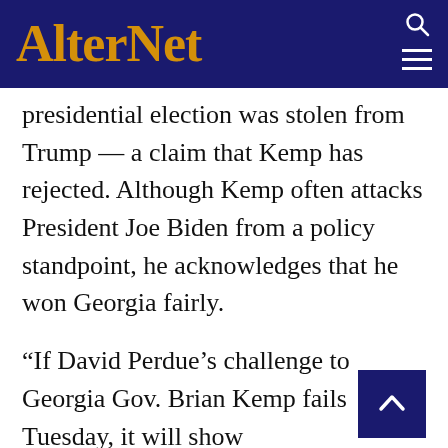AlterNet
presidential election was stolen from Trump — a claim that Kemp has rejected. Although Kemp often attacks President Joe Biden from a policy standpoint, he acknowledges that he won Georgia fairly.
“If David Perdue’s challenge to Georgia Gov. Brian Kemp fails Tuesday, it will show that don’t have to embrace Trumpian insurrectionism to compete in GOP primaries,” Sargent argues. “That would be welcome: Perdue’s candidacy is built on the idea that